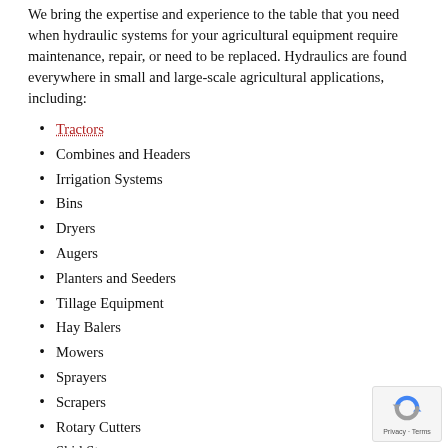We bring the expertise and experience to the table that you need when hydraulic systems for your agricultural equipment require maintenance, repair, or need to be replaced. Hydraulics are found everywhere in small and large-scale agricultural applications, including:
Tractors
Combines and Headers
Irrigation Systems
Bins
Dryers
Augers
Planters and Seeders
Tillage Equipment
Hay Balers
Mowers
Sprayers
Scrapers
Rotary Cutters
Skid Steers
Mini Excavators
Wheel Loaders
Utility Vehicles